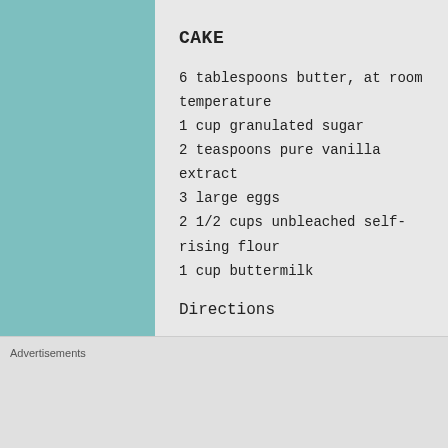CAKE
6 tablespoons butter, at room temperature
1 cup granulated sugar
2 teaspoons pure vanilla extract
3 large eggs
2 1/2 cups unbleached self-rising flour
1 cup buttermilk
Directions
Preheat the oven to 350°F. Lightly grease a 9" x
To make the topping:
Mix all of the topping ingredients until medi
Advertisements